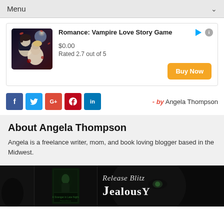Menu
[Figure (other): Advertisement for Romance: Vampire Love Story Game app - shows book cover with vampire and woman under moonlight, price $0.00, rated 2.7 out of 5, Buy Now button]
Romance: Vampire Love Story Game
$0.00
Rated 2.7 out of 5
f (Facebook share button)
Twitter share button
G+ share button
Pinterest share button
LinkedIn share button
- by Angela Thompson
About Angela Thompson
Angela is a freelance writer, mom, and book loving blogger based in the Midwest.
[Figure (photo): Bottom banner showing book covers and Release Blitz text with Jealousy title partially visible]